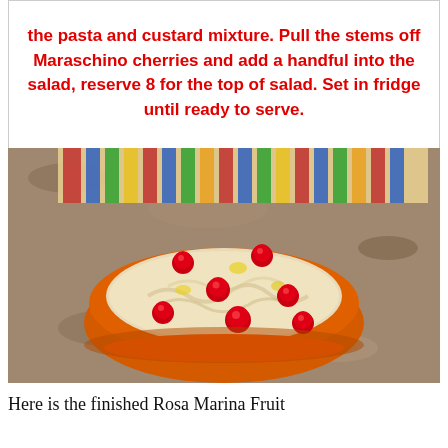the pasta and custard mixture. Pull the stems off Maraschino cherries and add a handful into the salad, reserve 8 for the top of salad. Set in fridge until ready to serve.
[Figure (photo): A photo of a finished Rosa Marina Fruit Salad in an orange bowl with Maraschino cherries on top, sitting on a granite countertop with a colorful striped cloth in the background.]
Here is the finished Rosa Marina Fruit